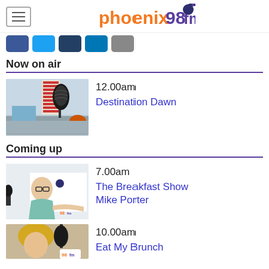[Figure (logo): Phoenix 98FM logo with orange and purple text and a bird graphic]
[Figure (infographic): Row of social media icon buttons: Facebook (blue), Twitter (light blue), YouTube (dark blue), LinkedIn (blue), Email (grey)]
Now on air
[Figure (photo): Radio studio with microphone and broadcasting equipment in foreground, 98FM branding visible]
12.00am
Destination Dawn
Coming up
[Figure (photo): Man in teal shirt posing in front of Phoenix 98FM branded backdrop]
7.00am
The Breakfast Show Mike Porter
[Figure (photo): Partial view of blonde woman in radio studio with 98FM branding]
10.00am
Eat My Brunch